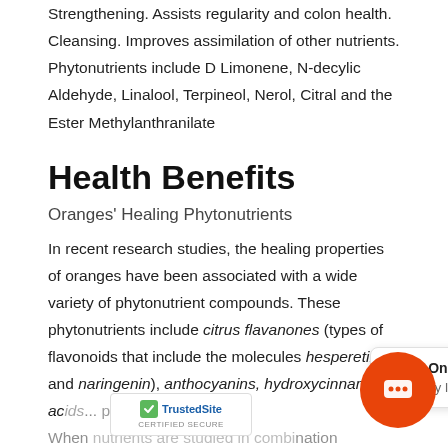Strengthening. Assists regularity and colon health. Cleansing. Improves assimilation of other nutrients. Phytonutrients include D Limonene, N-decylic Aldehyde, Linalool, Terpineol, Nerol, Citral and the Ester Methylanthranilate
Health Benefits
Oranges' Healing Phytonutrients
In recent research studies, the healing properties of oranges have been associated with a wide variety of phytonutrient compounds. These phytonutrients include citrus flavanones (types of flavonoids that include the molecules hesperetin and naringenin), anthocyanins, hydroxycinnamic acids, and polyphenols. When these nutrients are studied in combination